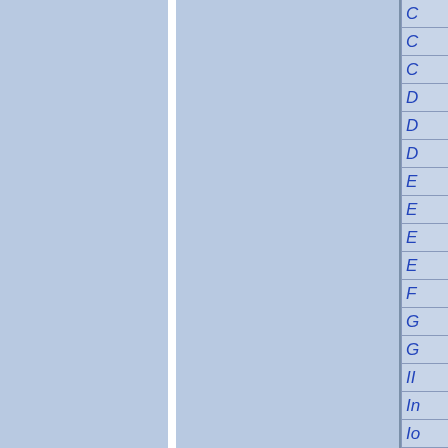[Figure (other): Navigation index panel on right side showing alphabetical letter tabs: C, C, C, D, D, D, E, E, E, E, F, G, G, II, In, Io — partial letters visible, blue italic text on light blue background with white divider lines and two blue-toned columns on left]
C
C
C
D
D
D
E
E
E
E
F
G
G
II
In
Io